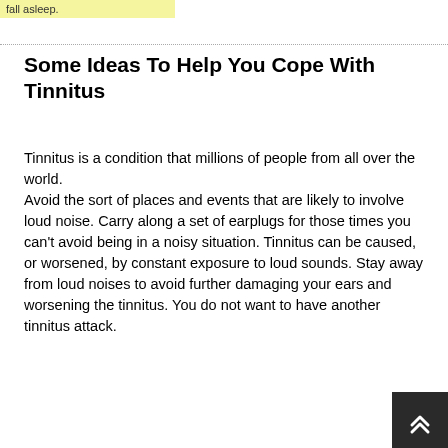fall asleep.
Some Ideas To Help You Cope With Tinnitus
Tinnitus is a condition that millions of people from all over the world. Avoid the sort of places and events that are likely to involve loud noise. Carry along a set of earplugs for those times you can't avoid being in a noisy situation. Tinnitus can be caused, or worsened, by constant exposure to loud sounds. Stay away from loud noises to avoid further damaging your ears and worsening the tinnitus. You do not want to have another tinnitus attack.